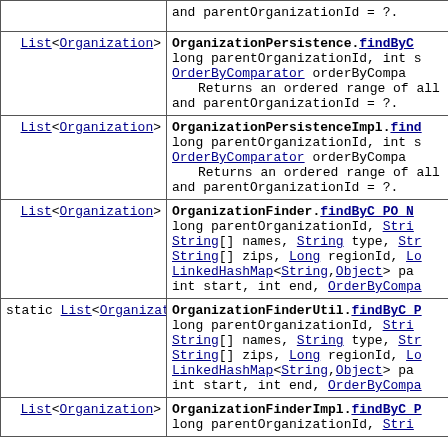| Return Type | Method and Description |
| --- | --- |
| List<Organization> | OrganizationPersistence.findByC_...
long parentOrganizationId, int s OrderByComparator orderByCompa...
    Returns an ordered range of all t and parentOrganizationId = ?. |
| List<Organization> | OrganizationPersistenceImpl.find...
long parentOrganizationId, int s OrderByComparator orderByCompa...
    Returns an ordered range of all t and parentOrganizationId = ?. |
| List<Organization> | OrganizationFinder.findByC PO N...
long parentOrganizationId, Stri... String[] names, String type, St... String[] zips, Long regionId, Lo... LinkedHashMap<String,Object> pa... int start, int end, OrderByCompa... |
| static List<Organization> | OrganizationFinderUtil.findByC P...
long parentOrganizationId, Stri... String[] names, String type, Str... String[] zips, Long regionId, Lo... LinkedHashMap<String,Object> pa... int start, int end, OrderByCompa... |
| List<Organization> | OrganizationFinderImpl.findByC P...
long parentOrganizationId, Stri... |